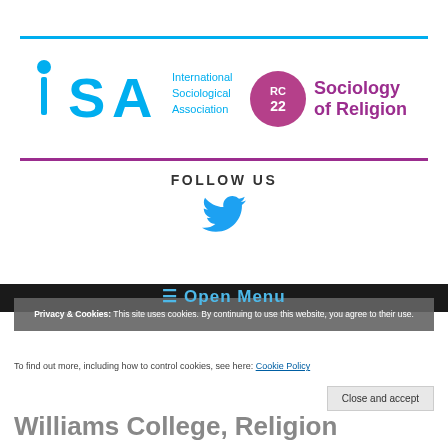[Figure (logo): ISA International Sociological Association logo with RC22 Sociology of Religion badge]
FOLLOW US
[Figure (illustration): Twitter bird icon in blue]
Privacy & Cookies: This site uses cookies. By continuing to use this website, you agree to their use.
☰  Open Menu
To find out more, including how to control cookies, see here: Cookie Policy
Close and accept
Williams College, Religion